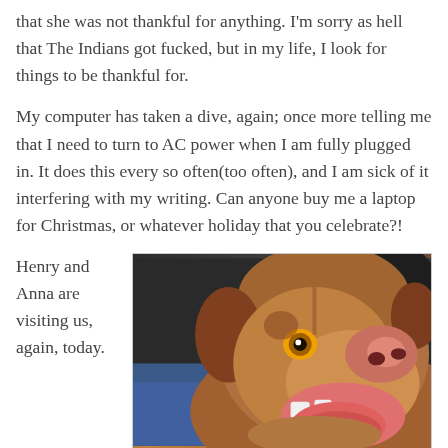that she was not thankful for anything. I'm sorry as hell that The Indians got fucked, but in my life, I look for things to be thankful for.
My computer has taken a dive, again; once more telling me that I need to turn to AC power when I am fully plugged in. It does this every so often(too often), and I am sick of it interfering with my writing. Can anyone buy me a laptop for Christmas, or whatever holiday that you celebrate?!
Henry and Anna are visiting us, again, today.
[Figure (photo): A brown dog looking upward with mouth open and tongue out, leaning against a person's leg]
Morisson K says: "Hey!"